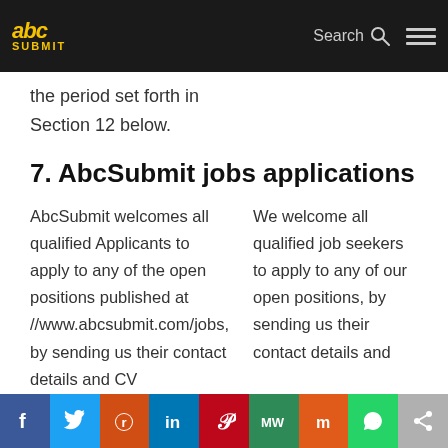abc SUBMIT | Search | Menu
the period set forth in Section 12 below.
7. AbcSubmit jobs applications
AbcSubmit welcomes all qualified Applicants to apply to any of the open positions published at //www.abcsubmit.com/jobs, by sending us their contact details and CV
We welcome all qualified job seekers to apply to any of our open positions, by sending us their contact details and
Social share bar: Facebook, Twitter, Reddit, LinkedIn, Pinterest, MixW, Mix, WhatsApp, Share